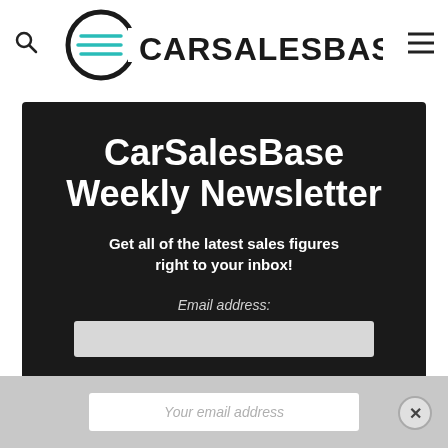[Figure (logo): CarSalesBase logo with circular car icon and bold text CARSALESBASE.]
CarSalesBase Weekly Newsletter
Get all of the latest sales figures right to your inbox!
Email address:
Your email address